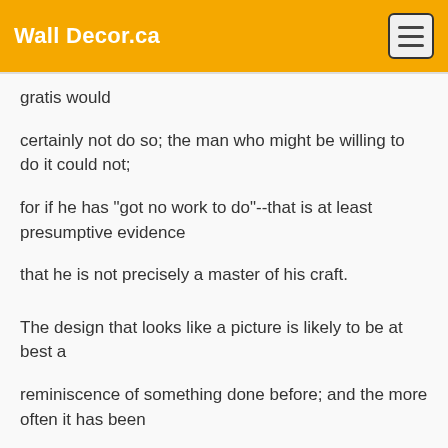Wall Decor.ca
gratis would
certainly not do so; the man who might be willing to do it could not;
for if he has "got no work to do"--that is at least presumptive evidence
that he is not precisely a master of his craft.
The design that looks like a picture is likely to be at best a
reminiscence of something done before; and the more often it has been